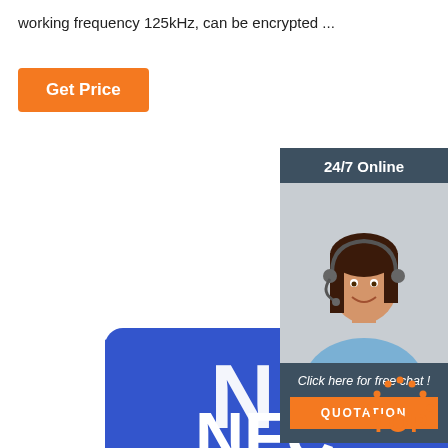working frequency 125kHz, can be encrypted ...
Get Price
[Figure (infographic): 24/7 Online customer service widget with photo of woman with headset, 'Click here for free chat!' text and QUOTATION button]
[Figure (photo): Blue NFC card being held, showing NFC logo symbol and partial 'NFC' text]
[Figure (logo): TOP logo with dotted arc above the word TOP in orange]